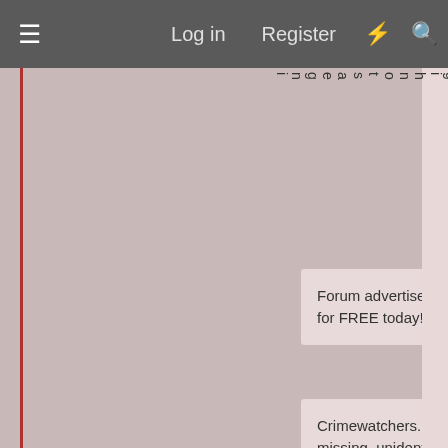≡   Log in   Register   ⚡   🔍
Forum advertisements get you down? Sign up for FREE today! Our members are ad free!
Crimewatchers.net is designed to help the missing, unidentified, and victims of crime. Our email is crimewatcherscw@gmail.com.